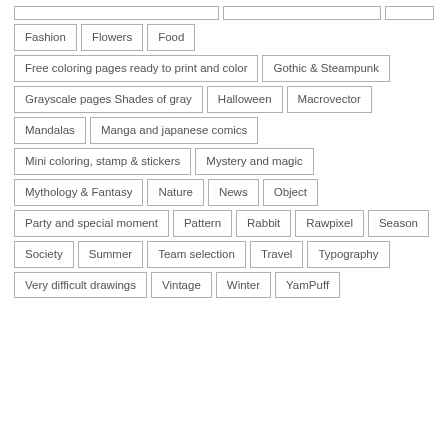Fashion
Flowers
Food
Free coloring pages ready to print and color
Gothic & Steampunk
Grayscale pages Shades of gray
Halloween
Macrovector
Mandalas
Manga and japanese comics
Mini coloring, stamp & stickers
Mystery and magic
Mythology & Fantasy
Nature
News
Object
Party and special moment
Pattern
Rabbit
Rawpixel
Season
Society
Summer
Team selection
Travel
Typography
Very difficult drawings
Vintage
Winter
YamPuff